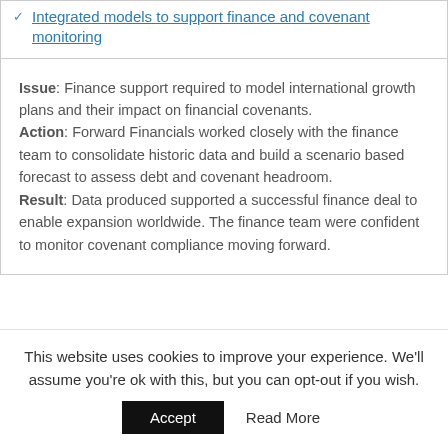Integrated models to support finance and covenant monitoring
Issue: Finance support required to model international growth plans and their impact on financial covenants. Action: Forward Financials worked closely with the finance team to consolidate historic data and build a scenario based forecast to assess debt and covenant headroom. Result: Data produced supported a successful finance deal to enable expansion worldwide. The finance team were confident to monitor covenant compliance moving forward.
This website uses cookies to improve your experience. We'll assume you're ok with this, but you can opt-out if you wish.